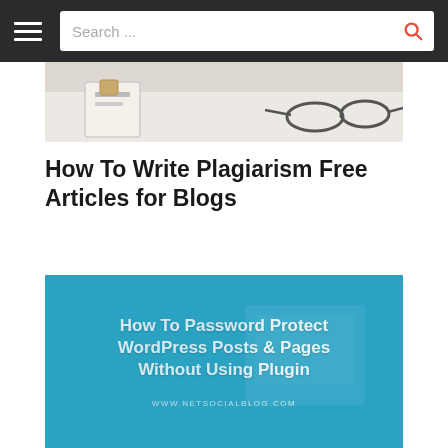Search ...
[Figure (photo): Partial photo of a desk with glasses and notebook, cropped at top]
How To Write Plagiarism Free Articles for Blogs
[Figure (illustration): Blue banner image with white bold text: How To Password Protect WordPress Posts & Pages Without Using Plugin, with URL www.netsocialblog.com at bottom]